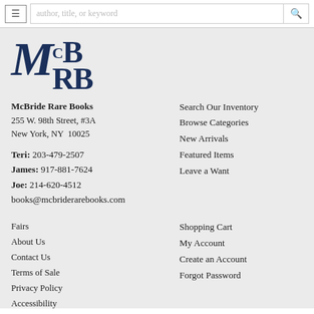≡  author, title, or keyword  🔍
[Figure (logo): McBRB logo in dark navy serif font with large M, superscript C, large B above RB]
McBride Rare Books
255 W. 98th Street, #3A
New York, NY  10025

Teri: 203-479-2507
James: 917-881-7624
Joe: 214-620-4512
books@mcbriderarebooks.com
Search Our Inventory
Browse Categories
New Arrivals
Featured Items
Leave a Want
Fairs
About Us
Contact Us
Terms of Sale
Privacy Policy
Accessibility
Shopping Cart
My Account
Create an Account
Forgot Password